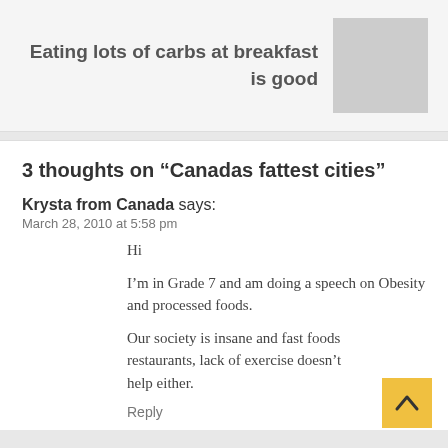Eating lots of carbs at breakfast is good
[Figure (photo): Gray placeholder image in top-right corner]
3 thoughts on “Canadas fattest cities”
Krysta from Canada says:
March 28, 2010 at 5:58 pm
Hi
I’m in Grade 7 and am doing a speech on Obesity and processed foods.
Our society is insane and fast foods restaurants, lack of exercise doesn’t help either.
Reply